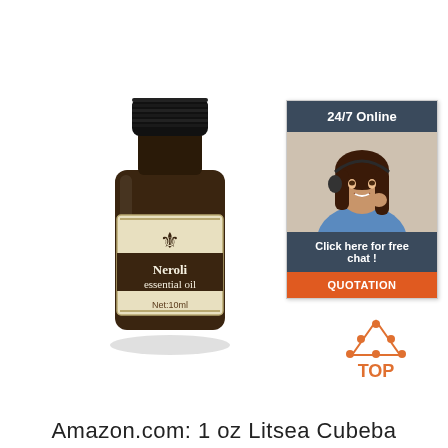[Figure (photo): A dark amber glass bottle of Neroli essential oil with a cream-colored label showing a fleur-de-lis symbol and text 'Neroli essential oil Net:10ml', with a black cap]
[Figure (infographic): Customer support widget showing '24/7 Online' header, photo of a smiling woman with headset, 'Click here for free chat!' text, and orange 'QUOTATION' button]
[Figure (logo): Orange 'TOP' logo with dots arranged in a triangle above the word TOP]
Amazon.com: 1 oz Litsea Cubeba